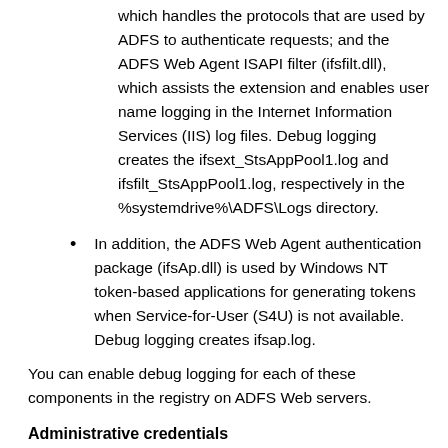which handles the protocols that are used by ADFS to authenticate requests; and the ADFS Web Agent ISAPI filter (ifsfilt.dll), which assists the extension and enables user name logging in the Internet Information Services (IIS) log files. Debug logging creates the ifsext_StsAppPool1.log and ifsfilt_StsAppPool1.log, respectively in the %systemdrive%\ADFS\Logs directory.
In addition, the ADFS Web Agent authentication package (ifsAp.dll) is used by Windows NT token-based applications for generating tokens when Service-for-User (S4U) is not available. Debug logging creates ifsap.log.
You can enable debug logging for each of these components in the registry on ADFS Web servers.
Administrative credentials